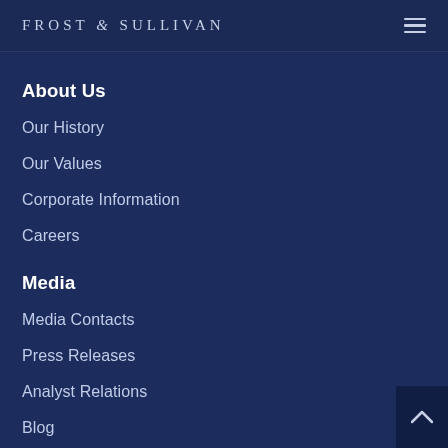FROST & SULLIVAN
About Us
Our History
Our Values
Corporate Information
Careers
Media
Media Contacts
Press Releases
Analyst Relations
Blog